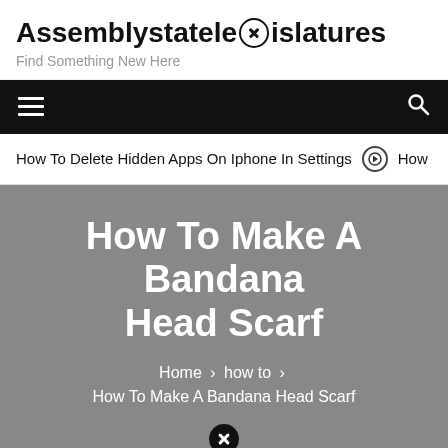Assemblystatelegislatures
Find Something New Here
Navigation bar with hamburger menu and search icon
How To Delete Hidden Apps On Iphone In Settings  ➡  How
How To Make A Bandana Head Scarf
Home > how to > How To Make A Bandana Head Scarf